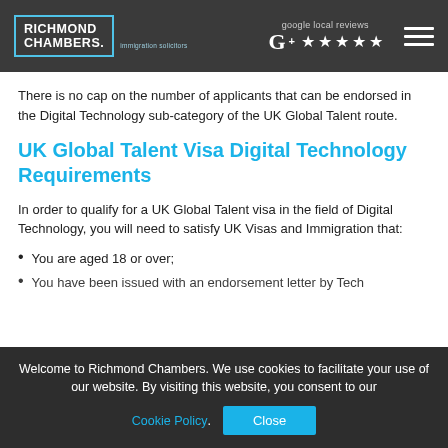RICHMOND CHAMBERS. Immigration Solicitors | google local reviews ★★★★★
There is no cap on the number of applicants that can be endorsed in the Digital Technology sub-category of the UK Global Talent route.
UK Global Talent Visa Digital Technology Requirements
In order to qualify for a UK Global Talent visa in the field of Digital Technology, you will need to satisfy UK Visas and Immigration that:
You are aged 18 or over;
You have been issued with an endorsement letter by Tech
Welcome to Richmond Chambers. We use cookies to facilitate your use of our website. By visiting this website, you consent to our Cookie Policy.